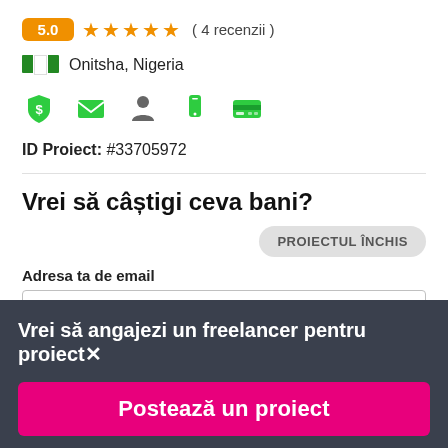5.0 ★★★★★ ( 4 recenzii )
🇳🇬 Onitsha, Nigeria
[Figure (infographic): Row of 5 green verification icons: dollar shield, email envelope, person silhouette, phone, credit card]
ID Proiect: #33705972
Vrei să câștigi ceva bani?
PROIECTUL ÎNCHIS
Adresa ta de email
Vrei să angajezi un freelancer pentru proiect
Postează un proiect